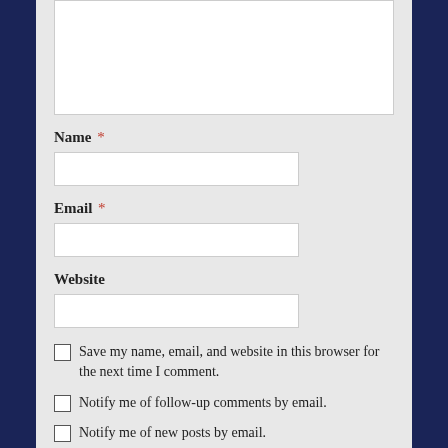[Figure (screenshot): Comment form textarea (empty, white background) at top of page]
Name *
[Figure (screenshot): Name text input field (empty, white background)]
Email *
[Figure (screenshot): Email text input field (empty, white background)]
Website
[Figure (screenshot): Website text input field (empty, white background)]
Save my name, email, and website in this browser for the next time I comment.
Notify me of follow-up comments by email.
Notify me of new posts by email.